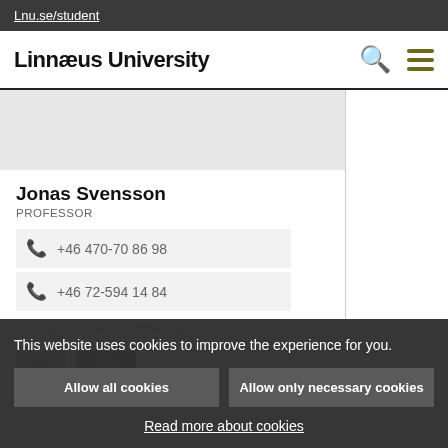Lnu.se/student
Linnæus University
[Figure (screenshot): Profile image placeholder - grey rectangle]
Jonas Svensson
PROFESSOR
+46 470-70 86 98
+46 72-594 14 84
jonas.svensson@lnu.se
This website uses cookies to improve the experience for you.
Allow all cookies
Allow only necessary cookies
Read more about cookies